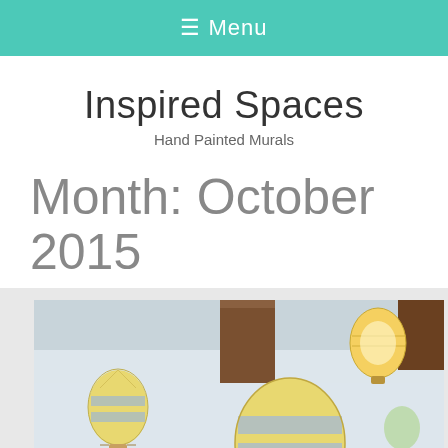≡ Menu
Inspired Spaces
Hand Painted Murals
Month: October 2015
[Figure (photo): Interior room photo showing hand-painted hot air balloon murals on a white wall, with wooden ceiling beams and a lamp fixture shaped like a hot air balloon. Two painted balloons visible in yellow and blue colors.]